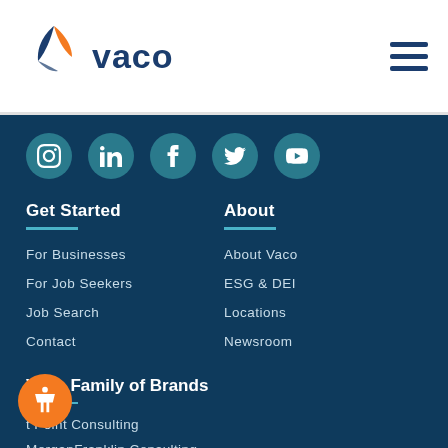[Figure (logo): Vaco logo with orange and navy leaf/arrow icon and 'vaco' wordmark in navy]
[Figure (infographic): Hamburger menu icon (three horizontal lines)]
[Figure (infographic): Social media icons row: Instagram, LinkedIn, Facebook, Twitter/X, YouTube — teal circles with white icons]
Get Started
For Businesses
For Job Seekers
Job Search
Contact
About
About Vaco
ESG & DEI
Locations
Newsroom
Vaco Family of Brands
t Point Consulting
MorganFranklin Consulting